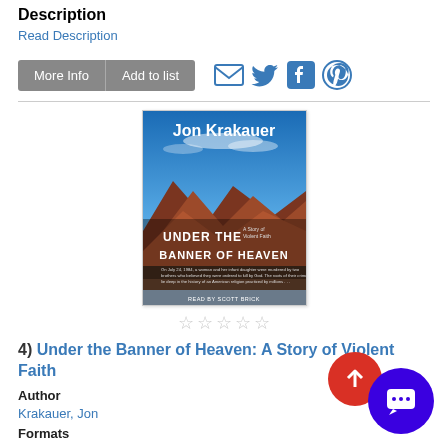Description
Read Description
More Info  Add to list
[Figure (screenshot): Book cover: Under the Banner of Heaven by Jon Krakauer, audiobook cover with red rock landscape]
[Figure (other): 5-star rating row (all empty stars)]
4) Under the Banner of Heaven: A Story of Violent Faith
Author
Krakauer, Jon
Formats